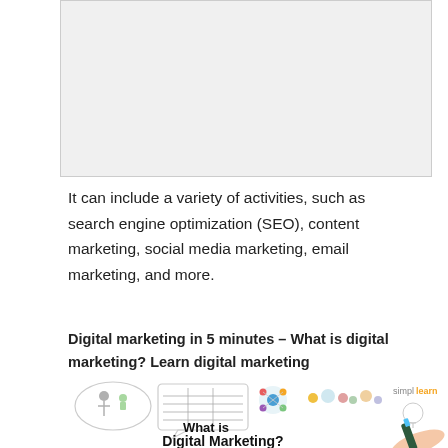[Figure (illustration): White/light grey box area at the top representing an image or video thumbnail placeholder]
It can include a variety of activities, such as search engine optimization (SEO), content marketing, social media marketing, email marketing, and more.
Digital marketing in 5 minutes – What is digital marketing? Learn digital marketing
[Figure (screenshot): Screenshot thumbnail of a Simplilearn video titled 'What is Digital Marketing?' showing whiteboard animation with icons and a hand holding a marker]